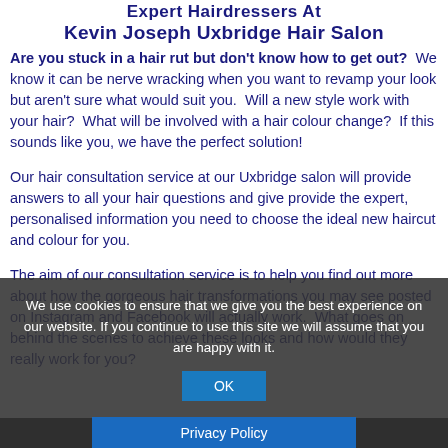Expert Hairdressers At Kevin Joseph Uxbridge Hair Salon
Are you stuck in a hair rut but don't know how to get out? We know it can be nerve wracking when you want to revamp your look but aren't sure what would suit you. Will a new style work with your hair? What will be involved with a hair colour change? If this sounds like you, we have the perfect solution!
Our hair consultation service at our Uxbridge salon will provide answers to all your hair questions and give provide the expert, personalised information you need to choose the ideal new haircut and colour for you.
The aim of our consultation service is to help you find out more about how the gorgeous hair transformations you may see posted on Instagram and Facebook will actually work. What goes on behind the scenes to achieve these looks and how would they really work for you?
We use cookies to ensure that we give you the best experience on our website. If you continue to use this site we will assume that you are happy with it.